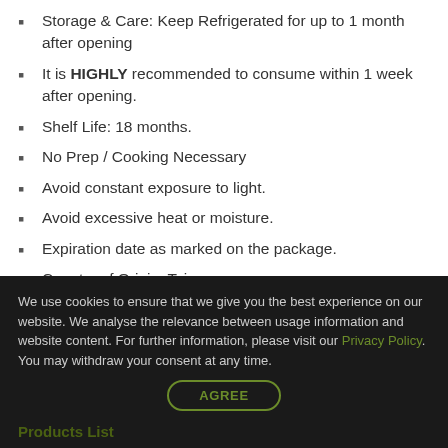Storage & Care: Keep Refrigerated for up to 1 month after opening
It is HIGHLY recommended to consume within 1 week after opening.
Shelf Life: 18 months.
No Prep / Cooking Necessary
Avoid constant exposure to light.
Avoid excessive heat or moisture.
Expiration date as marked on the package.
Country of Origin: Taiwan
We use cookies to ensure that we give you the best experience on our website. We analyse the relevance between usage information and website content. For further information, please visit our Privacy Policy. You may withdraw your consent at any time.
AGREE
Products List